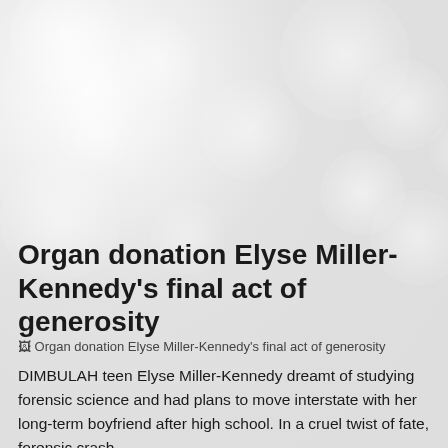[Figure (photo): Bokeh background photo with soft light circles on a grey/white background]
Organ donation Elyse Miller-Kennedy's final act of generosity
[Figure (photo): Broken/missing image placeholder for: Organ donation Elyse Miller-Kennedy's final act of generosity]
DIMBULAH teen Elyse Miller-Kennedy dreamt of studying forensic science and had plans to move interstate with her long-term boyfriend after high school. In a cruel twist of fate, forensic crash